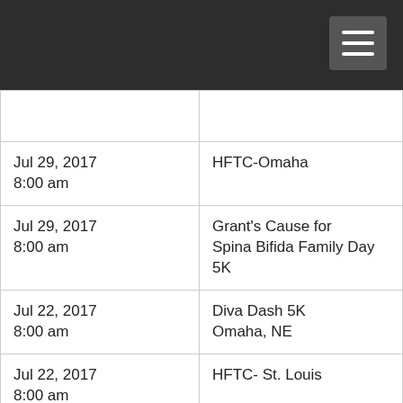Navigation menu
| Date/Time | Event |
| --- | --- |
|  |  |
| Jul 29, 2017 8:00 am | HFTC-Omaha |
| Jul 29, 2017 8:00 am | Grant's Cause for Spina Bifida Family Day 5K |
| Jul 22, 2017 8:00 am | Diva Dash 5K Omaha, NE |
| Jul 22, 2017 8:00 am | HFTC- St. Louis |
| Jul 22, 2017 7:30 am | Digital Ally Open 5K Run/Walk |